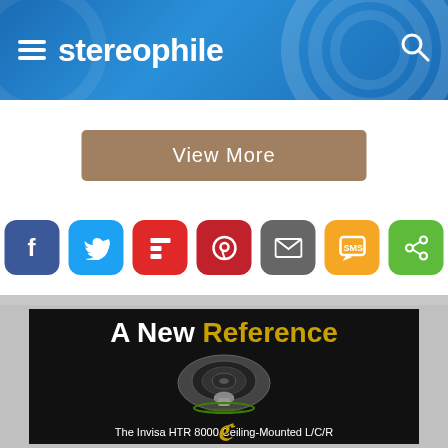stereophile
[Figure (screenshot): View More button — tan/khaki colored rounded rectangle button with white text 'View More']
[Figure (infographic): Row of 7 social media share icons: Facebook (blue), Twitter (light blue), Flipboard (red), Pinterest (dark red), Email (gray), SMS (yellow/orange), Share (green)]
[Figure (photo): Advertisement for the Invisa HTR 8000 Ceiling-Mounted L/C/R speaker. Black background with text 'A New Reference' (white and gold) and a ceiling speaker product photo in center. Bottom text reads 'The Invisa HTR 8000 Ceiling-Mounted L/C/R']